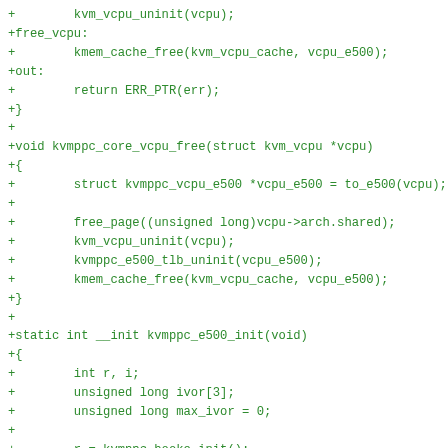+		kvm_vcpu_uninit(vcpu);
+free_vcpu:
+		kmem_cache_free(kvm_vcpu_cache, vcpu_e500);
+out:
+		return ERR_PTR(err);
+}
+
+void kvmppc_core_vcpu_free(struct kvm_vcpu *vcpu)
+{
+		struct kvmppc_vcpu_e500 *vcpu_e500 = to_e500(vcpu);
+
+		free_page((unsigned long)vcpu->arch.shared);
+		kvm_vcpu_uninit(vcpu);
+		kvmppc_e500_tlb_uninit(vcpu_e500);
+		kmem_cache_free(kvm_vcpu_cache, vcpu_e500);
+}
+
+static int __init kvmppc_e500_init(void)
+{
+		int r, i;
+		unsigned long ivor[3];
+		unsigned long max_ivor = 0;
+
+		r = kvmppc_booke_init();
+		if (r)